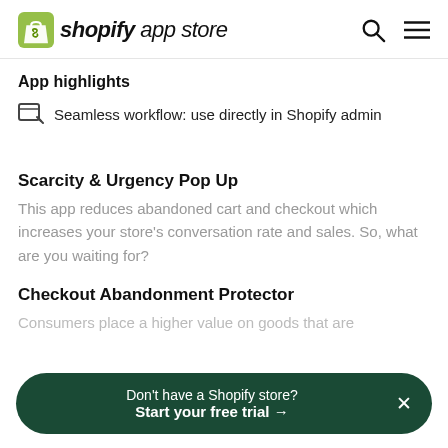shopify app store
App highlights
Seamless workflow: use directly in Shopify admin
Scarcity & Urgency Pop Up
This app reduces abandoned cart and checkout which increases your store's conversation rate and sales. So, what are you waiting for?
Checkout Abandonment Protector
Consumers place a higher value on goods that are
Don't have a Shopify store? Start your free trial →